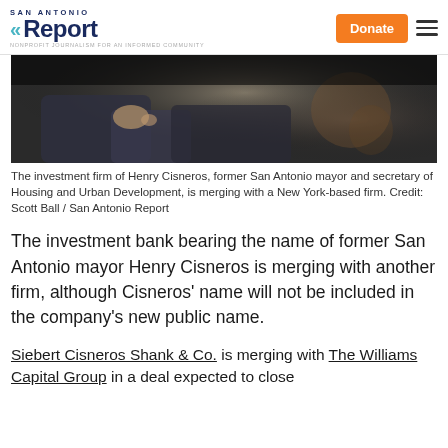San Antonio Report — Donate
[Figure (photo): Close-up photo of a person's hands and legs seated, dark background, formal attire, blurred ornate chair in background]
The investment firm of Henry Cisneros, former San Antonio mayor and secretary of Housing and Urban Development, is merging with a New York-based firm. Credit: Scott Ball / San Antonio Report
The investment bank bearing the name of former San Antonio mayor Henry Cisneros is merging with another firm, although Cisneros' name will not be included in the company's new public name.
Siebert Cisneros Shank & Co. is merging with The Williams Capital Group in a deal expected to close